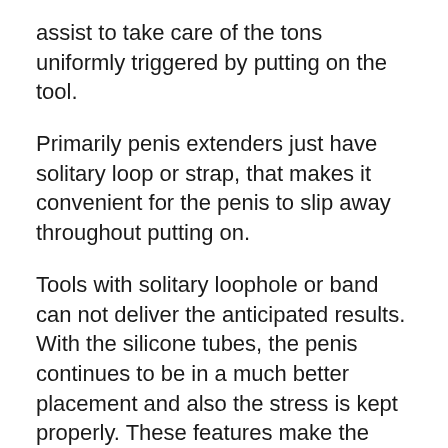assist to take care of the tons uniformly triggered by putting on the tool.
Primarily penis extenders just have solitary loop or strap, that makes it convenient for the penis to slip away throughout putting on.
Tools with solitary loophole or band can not deliver the anticipated results. With the silicone tubes, the penis continues to be in a much better placement and also the stress is kept properly. These features make the Quick Extender Pro the best device to get maximum gains. The gadget holds three attributes that make it stand out; the period of use, establishing accuracy and also degree of stress. The DSS system of Quick Extender Pro allow's the wearer wear the